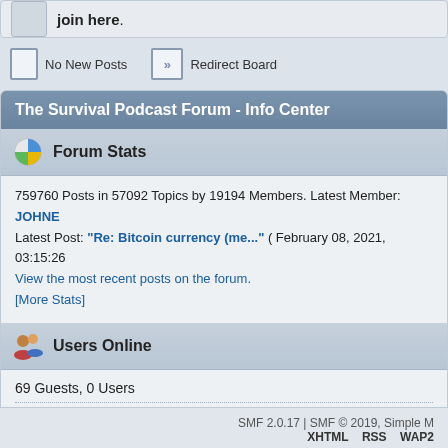join here.
No New Posts   Redirect Board
The Survival Podcast Forum - Info Center
Forum Stats
759760 Posts in 57092 Topics by 19194 Members. Latest Member: JOHNE Latest Post: "Re: Bitcoin currency (me..." ( February 08, 2021, 03:15:26 View the most recent posts on the forum. [More Stats]
Users Online
69 Guests, 0 Users
Most Online Today: 79. Most Online Ever: 2497 (February 04, 2021, 03:41:36 PM)
SMF 2.0.17 | SMF © 2019, Simple M   XHTML   RSS   WAP2